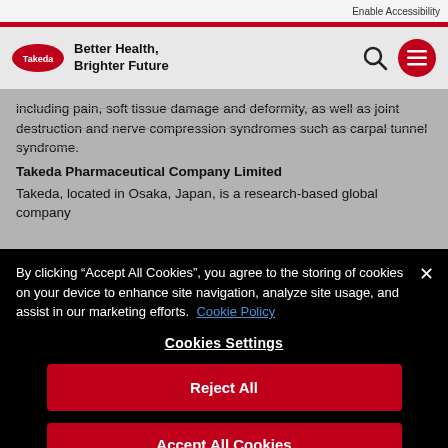Enable Accessibility
[Figure (logo): Takeda pharmaceutical company logo - red oval with Takeda text]
Better Health, Brighter Future
including pain, soft tissue damage and deformity, as well as joint destruction and nerve compression syndromes such as carpal tunnel syndrome.
Takeda Pharmaceutical Company Limited
Takeda, located in Osaka, Japan, is a research-based global company with a core focus on developing medicines that make a difference to patients' lives.
By clicking “Accept All Cookies”, you agree to the storing of cookies on your device to enhance site navigation, analyze site usage, and assist in our marketing efforts.  Cookie Policy
Cookies Settings
Reject All
Accept All Cookies